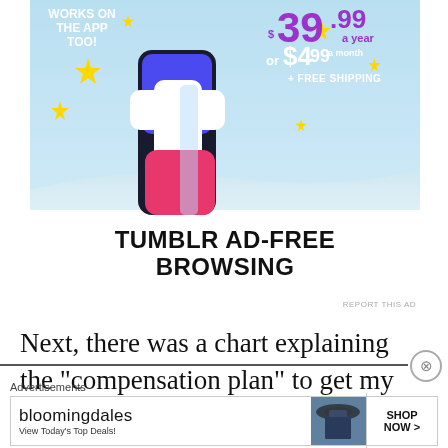[Figure (screenshot): Tumblr Ad-Free Browsing advertisement banner showing Tumblr 't' logo with stars on blue sky background, pricing $39.99 a year or $4.99 a month + free shipping, and 'TUMBLR AD-FREE BROWSING' text at bottom]
REPORT THIS AD
Next, there was a chart explaining the "compensation plan" to get my head around.
Advertisements
[Figure (screenshot): Bloomingdale's advertisement banner showing logo, 'View Today's Top Deals!' tagline, woman in hat, and 'SHOP NOW >' button]